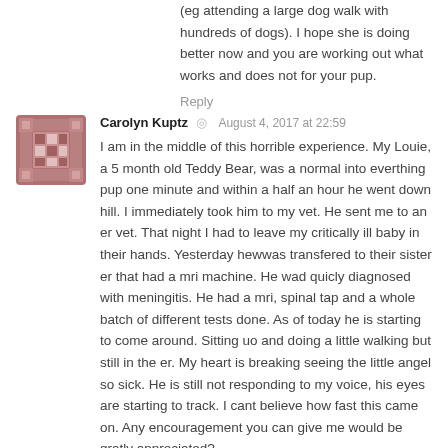(eg attending a large dog walk with hundreds of dogs). I hope she is doing better now and you are working out what works and does not for your pup.
Reply
[Figure (illustration): Avatar icon: patchwork quilt-style square icon in muted rose/mauve tones with a grid pattern]
Carolyn Kuptz · August 4, 2017 at 22:59
I am in the middle of this horrible experience. My Louie, a 5 month old Teddy Bear, was a normal into everthing pup one minute and within a half an hour he went down hill. I immediately took him to my vet. He sent me to an er vet. That night I had to leave my critically ill baby in their hands. Yesterday hewwas transfered to their sister er that had a mri machine. He wad quicly diagnosed with meningitis. He had a mri, spinal tap and a whole batch of different tests done. As of today he is starting to come around. Sitting uo and doing a little walking but still in the er. My heart is breaking seeing the little angel so sick. He is still not responding to my voice, his eyes are starting to track. I cant believe how fast this came on. Any encouragement you can give me would be gratly appreciated?
Reply